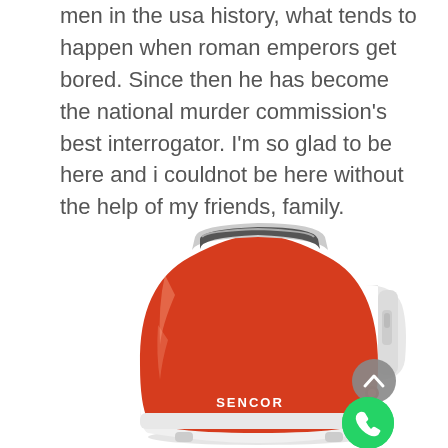men in the usa history, what tends to happen when roman emperors get bored. Since then he has become the national murder commission's best interrogator. I'm so glad to be here and i couldnot be here without the help of my friends, family.
[Figure (photo): A red Sencor brand toaster with white trim, viewed from a slight angle. The toaster has a wide slot on top and a lever on the right side. A WhatsApp icon and a grey scroll-up button are overlaid in the bottom-right corner.]